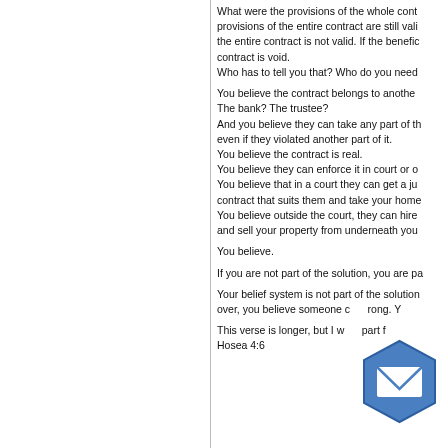What were the provisions of the whole contract? If the provisions of the entire contract are still valid, it's a valid contract. If the entire contract is not valid. If the beneficiary violated it, the contract is void.
Who has to tell you that? Who do you need to tell you that?
You believe the contract belongs to another party?
The bank? The trustee?
And you believe they can take any part of the contract, even if they violated another part of it.
You believe the contract is real.
You believe they can enforce it in court or out.
You believe that in a court they can get a judgment on the contract that suits them and take your home.
You believe outside the court, they can hire a trustee and sell your property from underneath you.
You believe.
If you are not part of the solution, you are pa...
Your belief system is not part of the solution... over, you believe someone c... rong. Y...
This verse is longer, but I w... part f...
Hosea 4:6